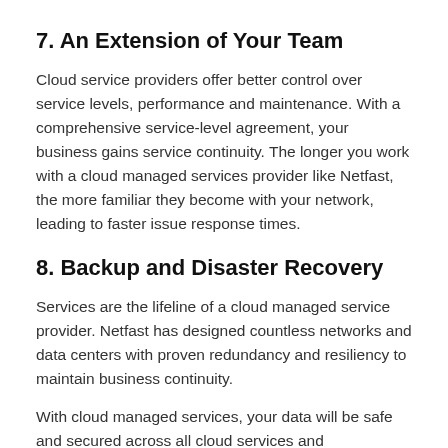7. An Extension of Your Team
Cloud service providers offer better control over service levels, performance and maintenance. With a comprehensive service-level agreement, your business gains service continuity. The longer you work with a cloud managed services provider like Netfast, the more familiar they become with your network, leading to faster issue response times.
8. Backup and Disaster Recovery
Services are the lifeline of a cloud managed service provider. Netfast has designed countless networks and data centers with proven redundancy and resiliency to maintain business continuity.
With cloud managed services, your data will be safe and secured across all cloud services and applications. In the event of a disaster, your business and operations can continue with minimal downtime.
9. Proactive Monitoring and Fast Response Times